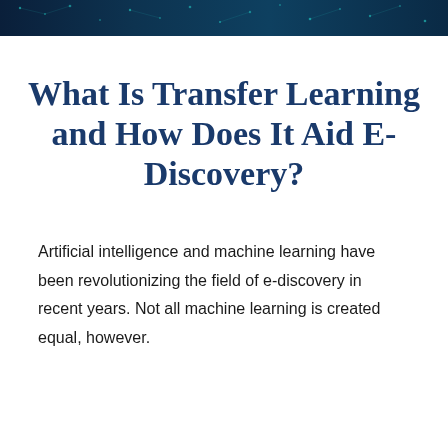[Figure (photo): Dark teal/navy technology background image with circuit board or digital network pattern, used as a decorative header banner.]
What Is Transfer Learning and How Does It Aid E-Discovery?
Artificial intelligence and machine learning have been revolutionizing the field of e-discovery in recent years. Not all machine learning is created equal, however.